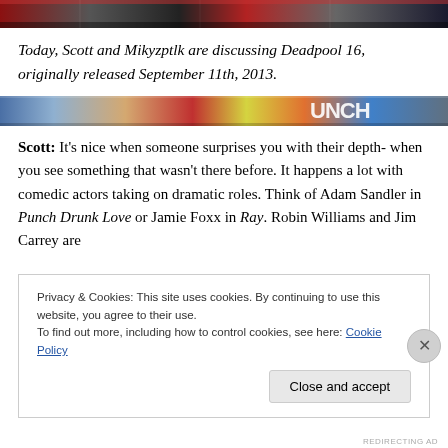[Figure (illustration): Top strip of comic book artwork showing a character in red (Deadpool) with dramatic coloring]
Today, Scott and Mikyzptlk are discussing Deadpool 16, originally released September 11th, 2013.
[Figure (illustration): Middle strip of comic book panel artwork with colorful superhero imagery and text 'UNCH']
Scott: It's nice when someone surprises you with their depth- when you see something that wasn't there before. It happens a lot with comedic actors taking on dramatic roles. Think of Adam Sandler in Punch Drunk Love or Jamie Foxx in Ray. Robin Williams and Jim Carrey are
Privacy & Cookies: This site uses cookies. By continuing to use this website, you agree to their use.
To find out more, including how to control cookies, see here: Cookie Policy
Close and accept